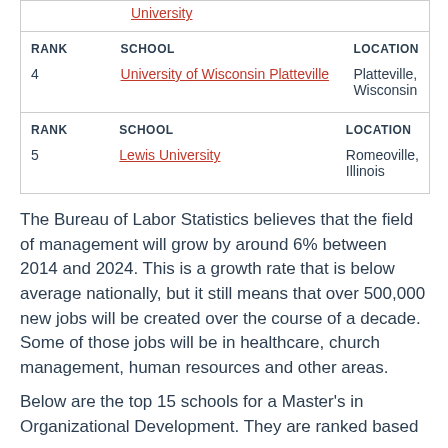| RANK | SCHOOL | LOCATION |
| --- | --- | --- |
| (partial) | University |  |
| RANK | SCHOOL | LOCATION |
| --- | --- | --- |
| 4 | University of Wisconsin Platteville | Platteville, Wisconsin |
| RANK | SCHOOL | LOCATION |
| --- | --- | --- |
| 5 | Lewis University | Romeoville, Illinois |
The Bureau of Labor Statistics believes that the field of management will grow by around 6% between 2014 and 2024. This is a growth rate that is below average nationally, but it still means that over 500,000 new jobs will be created over the course of a decade. Some of those jobs will be in healthcare, church management, human resources and other areas.
Below are the top 15 schools for a Master's in Organizational Development. They are ranked based